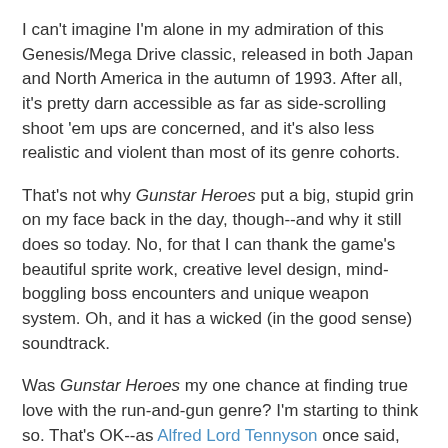I can't imagine I'm alone in my admiration of this Genesis/Mega Drive classic, released in both Japan and North America in the autumn of 1993. After all, it's pretty darn accessible as far as side-scrolling shoot 'em ups are concerned, and it's also less realistic and violent than most of its genre cohorts.
That's not why Gunstar Heroes put a big, stupid grin on my face back in the day, though--and why it still does so today. No, for that I can thank the game's beautiful sprite work, creative level design, mind-boggling boss encounters and unique weapon system. Oh, and it has a wicked (in the good sense) soundtrack.
Was Gunstar Heroes my one chance at finding true love with the run-and-gun genre? I'm starting to think so. That's OK--as Alfred Lord Tennyson once said, "'Tis better to have loved and lost than never to have loved at all."
See also: all of the previous '10 video games that made my life gayer' posts